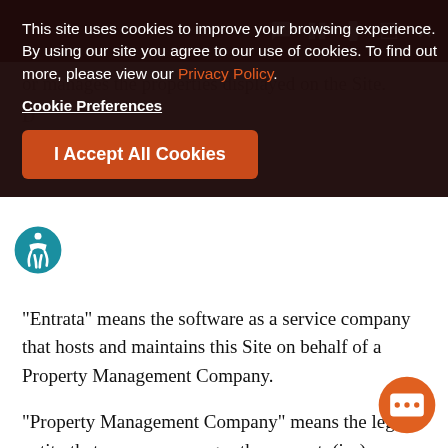[Figure (screenshot): Cookie consent banner overlay on a dark background showing cookie notice text, Privacy Policy link, Cookie Preferences link, and I Accept All Cookies button]
or manages the properties displayed on the Site.
Definitions
"Entrata" means the software as a service company that hosts and maintains this Site on behalf of a Property Management Company.
"Property Management Company" means the legal entity that owns or manages the property(ies) displayed on this Site.
"Payment Gateway" means the electronic system through which you may pass payment information